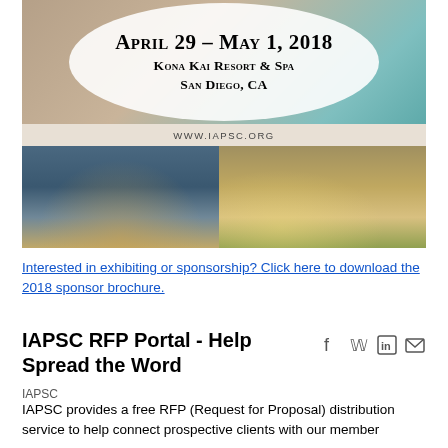[Figure (photo): Conference promotional image block showing April 29 - May 1, 2018, Kona Kai Resort & Spa, San Diego, CA with circular text overlay on wood/teal background, URL www.iapsc.org, and two venue photos below showing marina dining setup and thatched-roof outdoor lounge area]
Interested in exhibiting or sponsorship? Click here to download the 2018 sponsor brochure.
IAPSC RFP Portal - Help Spread the Word
IAPSC
IAPSC provides a free RFP (Request for Proposal) distribution service to help connect prospective clients with our member